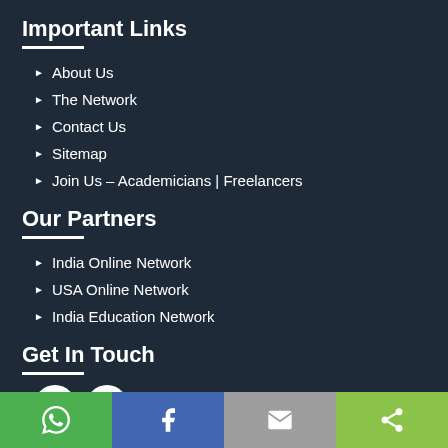Important Links
About Us
The Network
Contact Us
Sitemap
Join Us – Academicians | Freelancers
Our Partners
India Online Network
USA Online Network
India Education Network
Get In Touch
[Figure (other): Social media icons: Facebook circle and Twitter circle]
[Figure (other): Bottom navigation bar with WhatsApp, Facebook, Email, and Share icons]